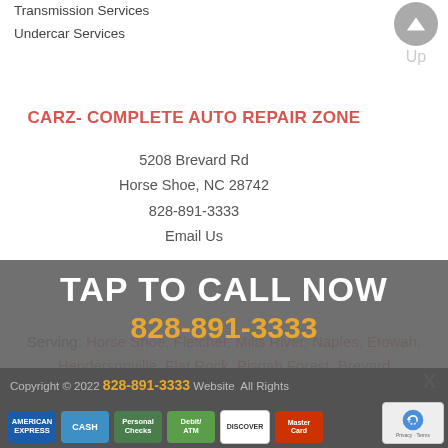Transmission Services
Undercar Services
CARZ- COMPLETE AUTO REPAIR ZONE
5208 Brevard Rd
Horse Shoe, NC 28742
828-891-3333
Email Us
Serving: Horse Shoe, Fletcher, Mills River, Naples, Etowah, Hendersonville, Flat Rock, Pisgah Forest, Brevard
TAP TO CALL NOW
828-891-3333
Copyright © 2022 Website All Rights